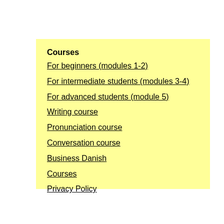Courses
For beginners (modules 1-2)
For intermediate students (modules 3-4)
For advanced students (module 5)
Writing course
Pronunciation course
Conversation course
Business Danish
Courses
Privacy Policy